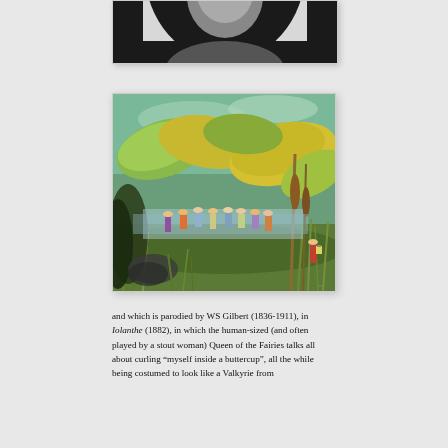[Figure (photo): Partial black-and-white circular portrait photo, cropped at top, showing the bottom portion of a person's head and shoulders against a dark background.]
[Figure (illustration): A colorful painting depicting fairy-like figures dancing in a lush garden or forest scene with large tropical leaves in shades of green and yellow, with figures in flowing robes and one figure with a lantern at the right edge.]
and which is parodied by WS Gilbert (1836-1911), in Iolanthe (1882), in which the human-sized (and often played by a stout woman) Queen of the Fairies talks all about curling “myself inside a buttercup”, all the while being costumed to look like a Valkyrie from